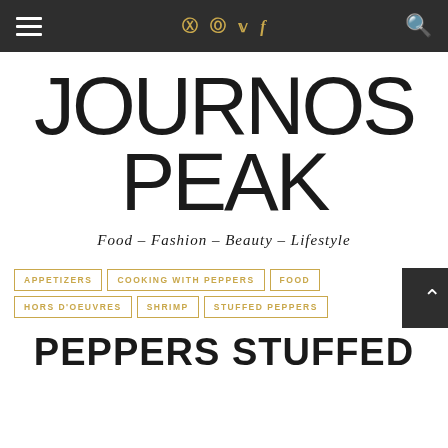Navigation bar with hamburger menu, social icons, and search
JOURNOS PEAK
Food – Fashion – Beauty – Lifestyle
APPETIZERS
COOKING WITH PEPPERS
FOOD
HORS D'OEUVRES
SHRIMP
STUFFED PEPPERS
PEPPERS STUFFED